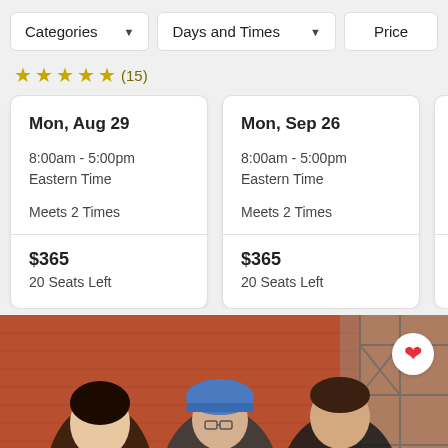Categories ▾   Days and Times ▾   Price
★★★★★ (15)
Mon, Aug 29 | 8:00am - 5:00pm Eastern Time | Meets 2 Times | $365 | 20 Seats Left
Mon, Sep 26 | 8:00am - 5:00pm Eastern Time | Meets 2 Times | $365 | 20 Seats Left
Mon, Oct… | 8:00am -… Eastern T… | Meets 2 T… | $365 | 20 Seats…
[Figure (photo): Three people at a construction site: a woman with dark hair, a man wearing a blue hard hat and glasses, and a man with short brown hair. Brick wall visible in background with scaffolding.]